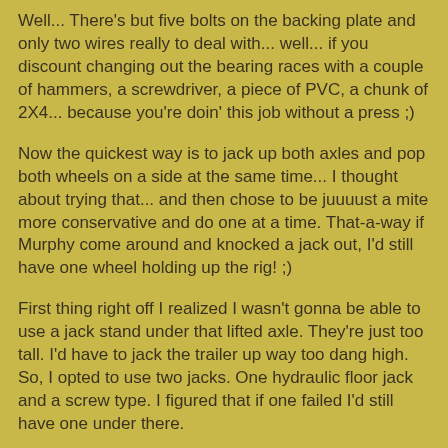Well... There's but five bolts on the backing plate and only two wires really to deal with... well... if you discount changing out the bearing races with a couple of hammers, a screwdriver, a piece of PVC, a chunk of 2X4... because you're doin' this job without a press ;)
Now the quickest way is to jack up both axles and pop both wheels on a side at the same time... I thought about trying that... and then chose to be juuuust a mite more conservative and do one at a time. That-a-way if Murphy come around and knocked a jack out, I'd still have one wheel holding up the rig! ;)
First thing right off I realized I wasn't gonna be able to use a jack stand under that lifted axle. They're just too tall. I'd have to jack the trailer up way too dang high. So, I opted to use two jacks. One hydraulic floor jack and a screw type. I figured that if one failed I'd still have one under there.
I also set the jacks on heavy wood plates to keep them from sinking into the soft ground...